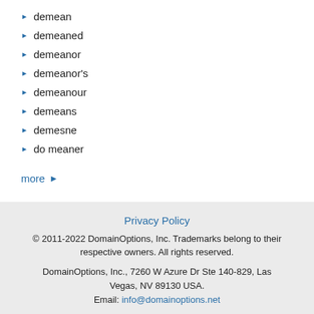demean
demeaned
demeanor
demeanor's
demeanour
demeans
demesne
do meaner
more ▶
Privacy Policy
© 2011-2022 DomainOptions, Inc. Trademarks belong to their respective owners. All rights reserved.
DomainOptions, Inc., 7260 W Azure Dr Ste 140-829, Las Vegas, NV 89130 USA.
Email: info@domainoptions.net